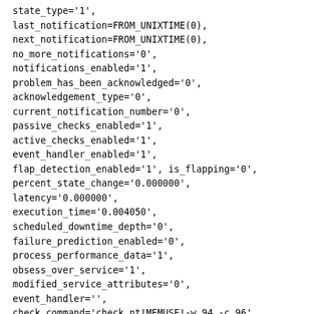state_type='1',
last_notification=FROM_UNIXTIME(0),
next_notification=FROM_UNIXTIME(0),
no_more_notifications='0',
notifications_enabled='1',
problem_has_been_acknowledged='0',
acknowledgement_type='0',
current_notification_number='0',
passive_checks_enabled='1',
active_checks_enabled='1',
event_handler_enabled='1',
flap_detection_enabled='1', is_flapping='0',
percent_state_change='0.000000',
latency='0.000000',
execution_time='0.004050',
scheduled_downtime_depth='0',
failure_prediction_enabled='0',
process_performance_data='1',
obsess_over_service='1',
modified_service_attributes='0',
event_handler='',
check_command='check_nt!MEMUSE!-w 94 -c 96',
normal_check_interval='5.000000',